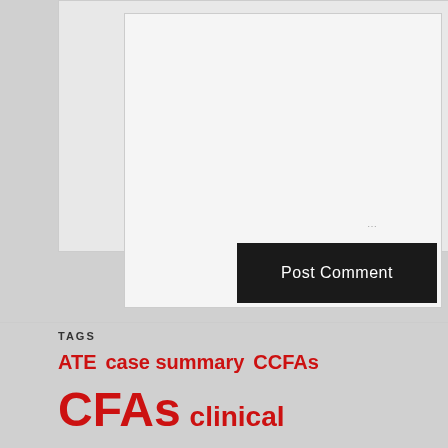[Figure (screenshot): Comment text area input box with resize handle, part of a web form]
[Figure (screenshot): Post Comment button, dark background with white text]
TAGS
ATE case summary CCFAs CFAs clinical negligence compensation culture conduct contingency fees costs capping costs draftsmen costs estimates counsel's